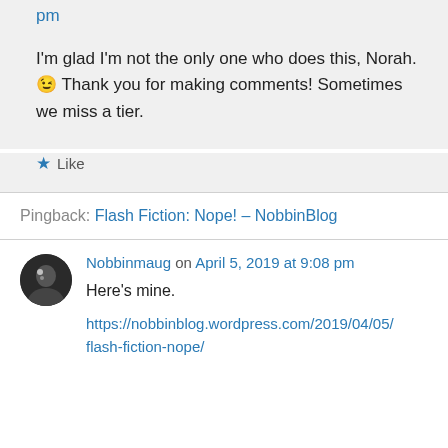pm
I'm glad I'm not the only one who does this, Norah. 😉 Thank you for making comments! Sometimes we miss a tier.
★ Like
Pingback: Flash Fiction: Nope! – NobbinBlog
Nobbinmaug on April 5, 2019 at 9:08 pm
Here's mine.
https://nobbinblog.wordpress.com/2019/04/05/flash-fiction-nope/